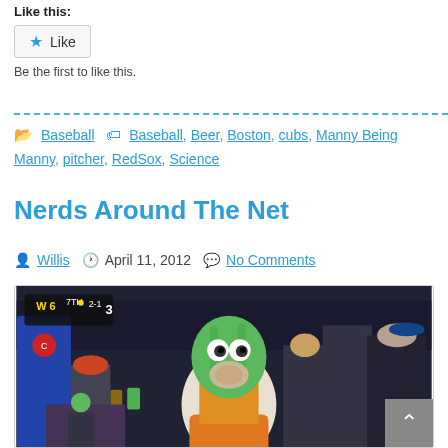Like this:
Like
Be the first to like this.
Baseball  Baseball, Beer, Boston, cubs, Manny Being Manny, pitcher, RedSox, Science
Nerds Around The Net
Willis  April 11, 2012  No Comments
[Figure (photo): Person wearing a green cartoon character costume at a basketball game, surrounded by other spectators. Scoreboard visible in upper left showing 7th inning/period.]